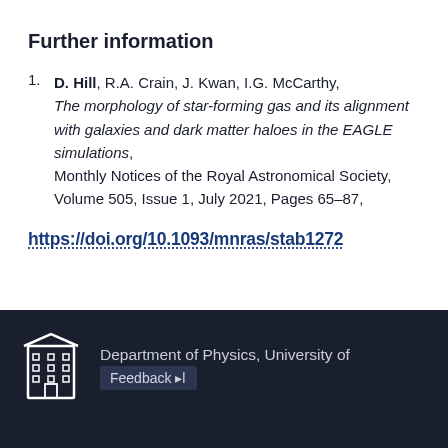Further information
D. Hill, R.A. Crain, J. Kwan, I.G. McCarthy, The morphology of star-forming gas and its alignment with galaxies and dark matter haloes in the EAGLE simulations, Monthly Notices of the Royal Astronomical Society, Volume 505, Issue 1, July 2021, Pages 65–87,
https://doi.org/10.1093/mnras/stab1272
[Figure (logo): University building logo icon in white outline on dark background]
Department of Physics, University of
Feedback